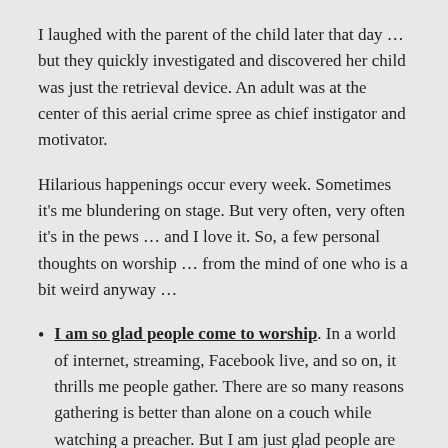I laughed with the parent of the child later that day ... but they quickly investigated and discovered her child was just the retrieval device. An adult was at the center of this aerial crime spree as chief instigator and motivator.
Hilarious happenings occur every week. Sometimes it's me blundering on stage. But very often, very often it's in the pews ... and I love it. So, a few personal thoughts on worship ... from the mind of one who is a bit weird anyway ...
I am so glad people come to worship. In a world of internet, streaming, Facebook live, and so on, it thrills me people gather. There are so many reasons gathering is better than alone on a couch while watching a preacher. But I am just glad people are there. Not for me, far better preaching is online, but for the family of God to be together.